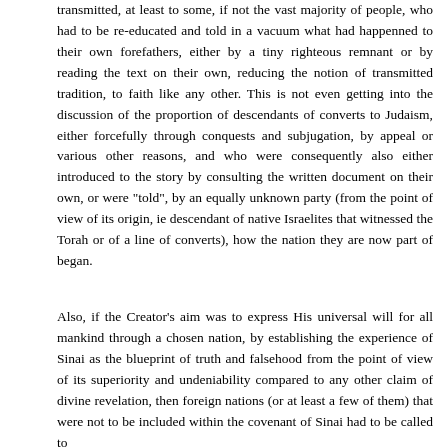transmitted, at least to some, if not the vast majority of people, who had to be re-educated and told in a vacuum what had happenned to their own forefathers, either by a tiny righteous remnant or by reading the text on their own, reducing the notion of transmitted tradition, to faith like any other. This is not even getting into the discussion of the proportion of descendants of converts to Judaism, either forcefully through conquests and subjugation, by appeal or various other reasons, and who were consequently also either introduced to the story by consulting the written document on their own, or were "told", by an equally unknown party (from the point of view of its origin, ie descendant of native Israelites that witnessed the Torah or of a line of converts), how the nation they are now part of began.
Also, if the Creator's aim was to express His universal will for all mankind through a chosen nation, by establishing the experience of Sinai as the blueprint of truth and falsehood from the point of view of its superiority and undeniability compared to any other claim of divine revelation, then foreign nations (or at least a few of them) that were not to be included within the covenant of Sinai had to be called to